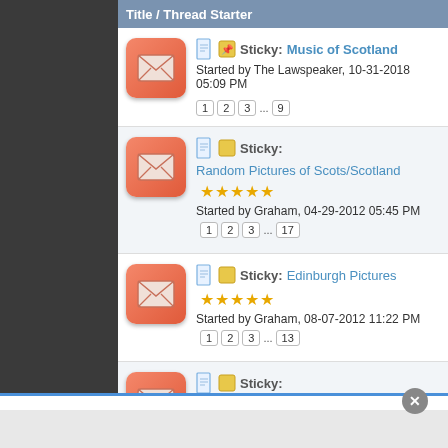Title / Thread Starter
Sticky: Music of Scotland — Started by The Lawspeaker, 10-31-2018 05:09 PM — Pages: 1 2 3 ... 9
Sticky: Random Pictures of Scots/Scotland — Started by Graham, 04-29-2012 05:45 PM — Pages: 1 2 3 ... 17
Sticky: Edinburgh Pictures — Started by Graham, 08-07-2012 11:22 PM — Pages: 1 2 3 ... 13
Sticky: Scots Towers, Castles, Palaces & Clan Seats — Started by Graham, 11-15-2011 03:10 PM — Pages: 1 2 3 ... 5